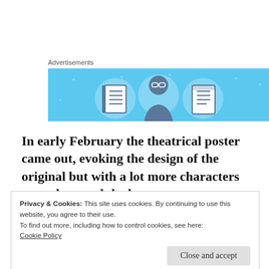Advertisements
[Figure (illustration): Advertisement banner with light blue background showing three circular icons: a notebook, a person wearing glasses, and a document/list. Small star/cross decorations scattered across the background.]
In early February the theatrical poster came out, evoking the design of the original but with a lot more characters spread around the layout.
Privacy & Cookies: This site uses cookies. By continuing to use this website, you agree to their use.
To find out more, including how to control cookies, see here:
Cookie Policy
Close and accept